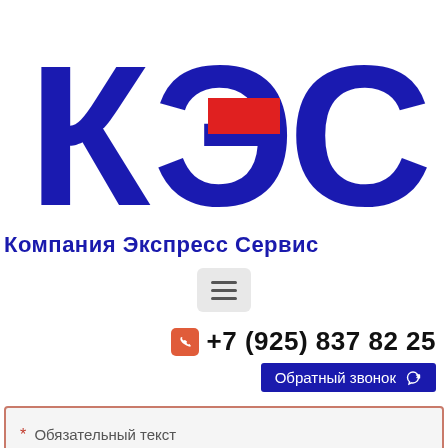[Figure (logo): КЭС logo with large Cyrillic letters К, Э, С in dark blue, red rectangle accent on the Э letter center]
Компания Экспресс Сервис
[Figure (other): Hamburger menu button icon with three horizontal lines on a light grey rounded rectangle background]
+7 (925) 837 82 25
Обратный звонок
* Обязательный текст